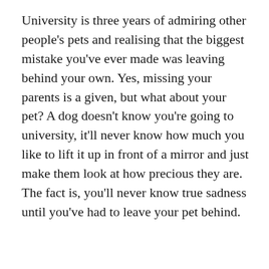University is three years of admiring other people's pets and realising that the biggest mistake you've ever made was leaving behind your own. Yes, missing your parents is a given, but what about your pet? A dog doesn't know you're going to university, it'll never know how much you like to lift it up in front of a mirror and just make them look at how precious they are. The fact is, you'll never know true sadness until you've had to leave your pet behind.